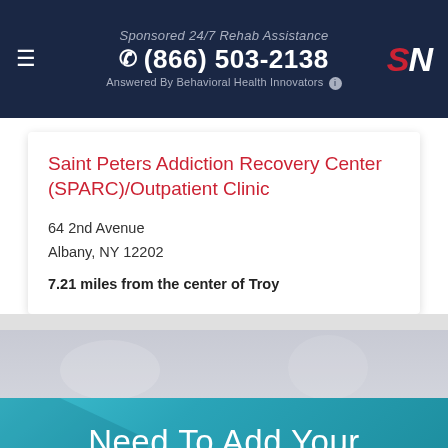Sponsored 24/7 Rehab Assistance
☎ (866) 503-2138
Answered By Behavioral Health Innovators ℹ
Saint Peters Addiction Recovery Center (SPARC)/Outpatient Clinic
64 2nd Avenue
Albany, NY 12202
7.21 miles from the center of Troy
Need To Add Your